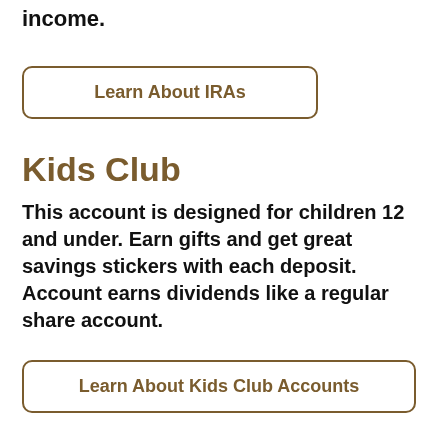income.
Learn About IRAs
Kids Club
This account is designed for children 12 and under. Earn gifts and get great savings stickers with each deposit. Account earns dividends like a regular share account.
Learn About Kids Club Accounts